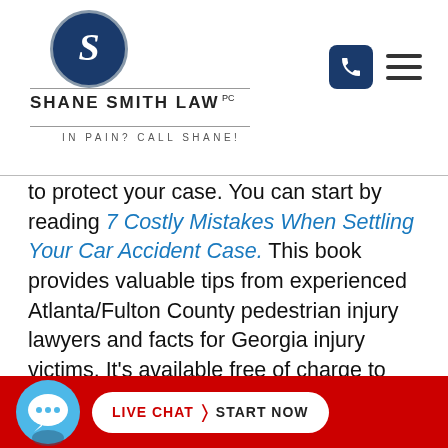[Figure (logo): Shane Smith Law PC logo with blue circular emblem containing stylized S, firm name, and tagline IN PAIN? CALL SHANE!]
to protect your case. You can start by reading 7 Costly Mistakes When Settling Your Car Accident Case. This book provides valuable tips from experienced Atlanta/Fulton County pedestrian injury lawyers and facts for Georgia injury victims. It's available free of charge to accident victims and their families.
Next, you should ... with
[Figure (screenshot): Live Chat button at the bottom: chat bubble icon on left, white pill-shaped button reading LIVE CHAT > START NOW on red background]